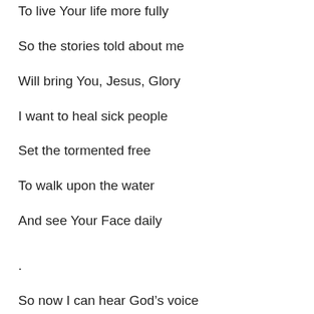To live Your life more fully
So the stories told about me
Will bring You, Jesus, Glory
I want to heal sick people
Set the tormented free
To walk upon the water
And see Your Face daily
.
So now I can hear God’s voice
Like You could here on earth